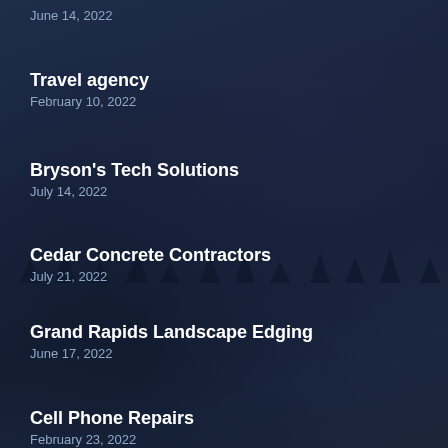June 14, 2022
Travel agency
February 10, 2022
Bryson's Tech Solutions
July 14, 2022
Cedar Concrete Contractors
July 21, 2022
Grand Rapids Landscape Edging
June 17, 2022
Cell Phone Repairs
February 23, 2022